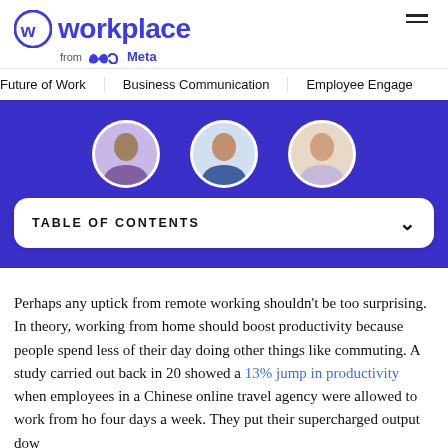Workplace from Meta
Future of Work   Business Communication   Employee Engage
[Figure (photo): Purple banner with circular avatar photos of three people]
TABLE OF CONTENTS
Perhaps any uptick from remote working shouldn't be too surprising. In theory, working from home should boost productivity because people spend less of their day doing other things like commuting. A study carried out back in 20 showed a 13% jump in productivity when employees in a Chinese online travel agency were allowed to work from home four days a week. They put their supercharged output down